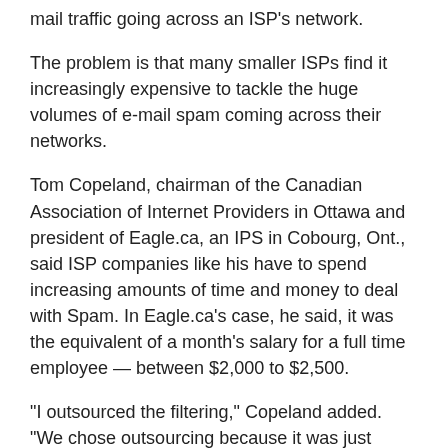mail traffic going across an ISP's network.
The problem is that many smaller ISPs find it increasingly expensive to tackle the huge volumes of e-mail spam coming across their networks.
Tom Copeland, chairman of the Canadian Association of Internet Providers in Ottawa and president of Eagle.ca, an IPS in Cobourg, Ont., said ISP companies like his have to spend increasing amounts of time and money to deal with Spam. In Eagle.ca's case, he said, it was the equivalent of a month's salary for a full time employee — between $2,000 to $2,500.
“I outsourced the filtering,” Copeland added. “We chose outsourcing because it was just becoming a horrendous staff nightmare to try to stay one step ahead of the Spammers. One way or another, it is